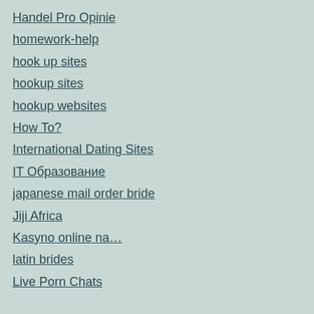Handel Pro Opinie
homework-help
hook up sites
hookup sites
hookup websites
How To?
International Dating Sites
IT Образование
japanese mail order bride
Jiji Africa
Kasyno online na…
latin brides
Live Porn Chats